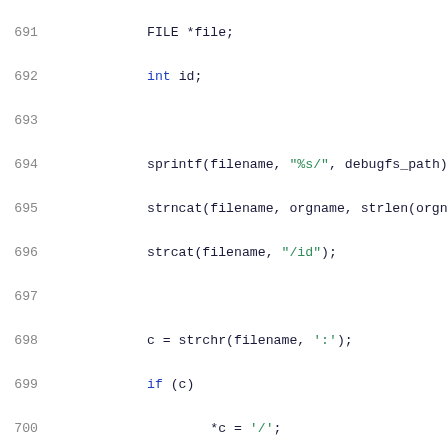Code listing lines 691–712, C source code showing file operations and event ID storage